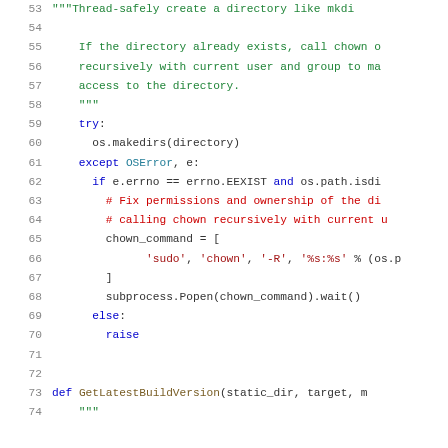[Figure (screenshot): Python source code snippet with line numbers 53-74, showing a function body with docstring, try/except block for os.makedirs, chown_command construction, and the beginning of a GetLatestBuildVersion function definition. Syntax highlighted with green for docstrings/comments, blue for keywords, red for comments, dark colors for identifiers.]